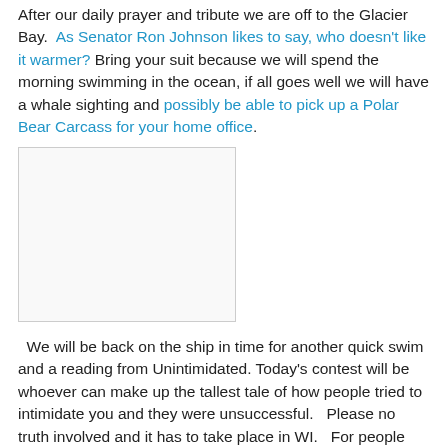After our daily prayer and tribute we are off to the Glacier Bay. As Senator Ron Johnson likes to say, who doesn't like it warmer? Bring your suit because we will spend the morning swimming in the ocean, if all goes well we will have a whale sighting and possibly be able to pick up a Polar Bear Carcass for your home office.
[Figure (photo): A blank/white image placeholder with a light gray border]
We will be back on the ship in time for another quick swim and a reading from Unintimidated. Today's contest will be whoever can make up the tallest tale of how people tried to intimidate you and they were unsuccessful. Please no truth involved and it has to take place in WI. For people who purchase the VIP package, you will learn how to add violence into peaceful protesters all in the name of the Lord!
The winner will receive the bonus of NOT getting a signed